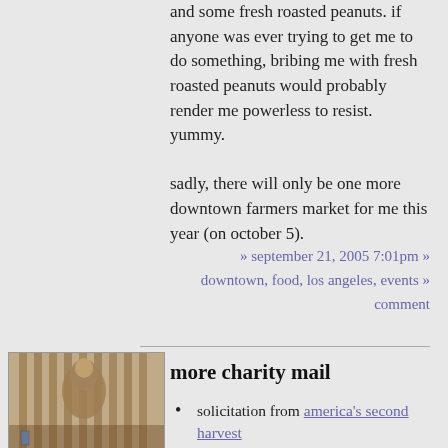and some fresh roasted peanuts. if anyone was ever trying to get me to do something, bribing me with fresh roasted peanuts would probably render me powerless to resist. yummy.
	sadly, there will only be one more downtown farmers market for me this year (on october 5).
» september 21, 2005 7:01pm » downtown, food, los angeles, events » comment
more charity mail
solicitation from america's second harvest
invitation to a cocktail reception at grace home furnishings where a portion of the benefits will go to the los angeles conservancy
[Figure (photo): Sepia-toned old photograph of a person or figure with a rustic background]